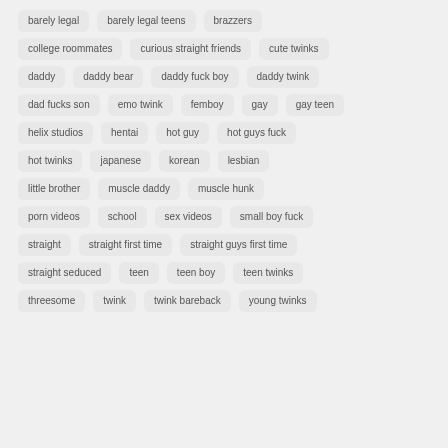barely legal
barely legal teens
brazzers
college roommates
curious straight friends
cute twinks
daddy
daddy bear
daddy fuck boy
daddy twink
dad fucks son
emo twink
femboy
gay
gay teen
helix studios
hentai
hot guy
hot guys fuck
hot twinks
japanese
korean
lesbian
little brother
muscle daddy
muscle hunk
porn videos
school
sex videos
small boy fuck
straight
straight first time
straight guys first time
straight seduced
teen
teen boy
teen twinks
threesome
twink
twink bareback
young twinks